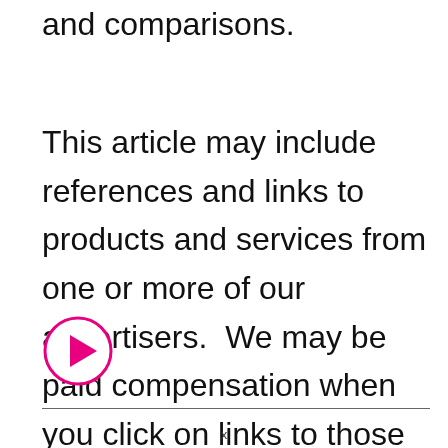and comparisons.
This article may include references and links to products and services from one or more of our advertisers.  We may be paid compensation when you click on links to those products and/or services. Also, as an Amazon Associate, we earn from qualifying purchases.
[Figure (other): Pink/magenta play button icon (circle with right-pointing triangle)]
x